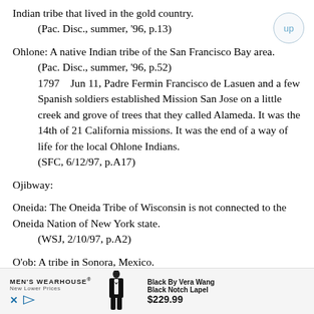Indian tribe that lived in the gold country.
    (Pac. Disc., summer, '96, p.13)
Ohlone: A native Indian tribe of the San Francisco Bay area.
    (Pac. Disc., summer, '96, p.52)
    1797    Jun 11, Padre Fermin Francisco de Lasuen and a few Spanish soldiers established Mission San Jose on a little creek and grove of trees that they called Alameda. It was the 14th of 21 California missions. It was the end of a way of life for the local Ohlone Indians.
    (SFC, 6/12/97, p.A17)
Ojibway:
Oneida: The Oneida Tribe of Wisconsin is not connected to the Oneida Nation of New York state.
    (WSJ, 2/10/97, p.A2)
O'ob: A tribe in Sonora, Mexico.
[Figure (other): Men's Wearhouse advertisement banner showing a man in a tuxedo, 'Black By Vera Wang Black Notch Lapel $229.99', with X and play icons at bottom left.]